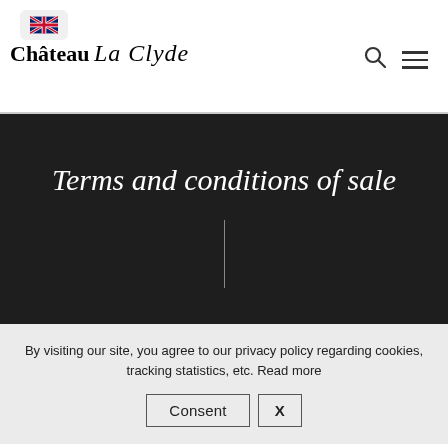[Figure (logo): UK flag button in top left corner of navigation header]
Château La Clyde
[Figure (other): Search icon (magnifying glass) and hamburger menu icon in top right navigation]
Terms and conditions of sale
By visiting our site, you agree to our privacy policy regarding cookies, tracking statistics, etc. Read more
Consent  X